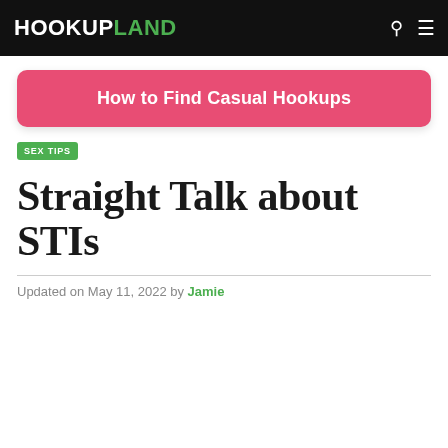HOOKUPLAND
[Figure (other): Pink rounded banner button reading 'How to Find Casual Hookups']
SEX TIPS
Straight Talk about STIs
Updated on May 11, 2022 by Jamie